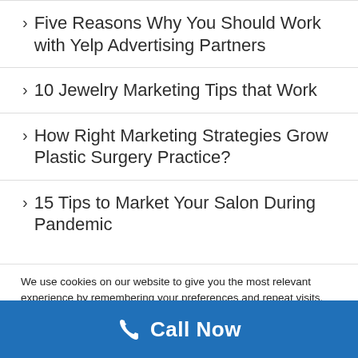> Five Reasons Why You Should Work with Yelp Advertising Partners
> 10 Jewelry Marketing Tips that Work
> How Right Marketing Strategies Grow Plastic Surgery Practice?
> 15 Tips to Market Your Salon During Pandemic
We use cookies on our website to give you the most relevant experience by remembering your preferences and repeat visits. By clicking "Accept All", you consent to the use of ALL the cookies. However, you may visit "Cookie Settings" to provide a controlled consent.
Call Now